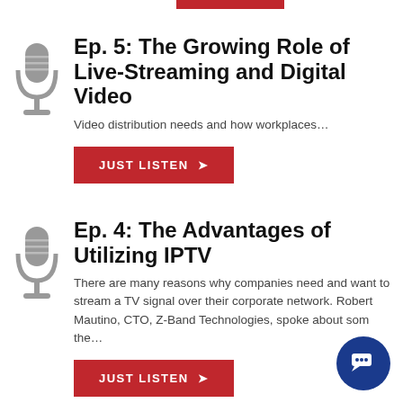[Figure (illustration): Red horizontal bar at top center of page]
[Figure (illustration): Gray microphone icon for Episode 5]
Ep. 5: The Growing Role of Live-Streaming and Digital Video
Video distribution needs and how workplaces...
JUST LISTEN
[Figure (illustration): Gray microphone icon for Episode 4]
Ep. 4: The Advantages of Utilizing IPTV
There are many reasons why companies need and want to stream a TV signal over their corporate network. Robert Mautino, CTO, Z-Band Technologies, spoke about some the...
JUST LISTEN
[Figure (illustration): Dark blue circular chat/support bubble icon in bottom right corner]